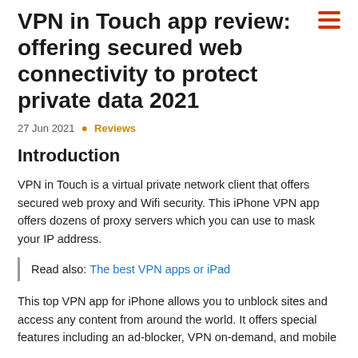VPN in Touch app review: offering secured web connectivity to protect private data 2021
27 Jun 2021 • Reviews
Introduction
VPN in Touch is a virtual private network client that offers secured web proxy and Wifi security. This iPhone VPN app offers dozens of proxy servers which you can use to mask your IP address.
Read also: The best VPN apps or iPad
This top VPN app for iPhone allows you to unblock sites and access any content from around the world. It offers special features including an ad-blocker, VPN on-demand, and mobile